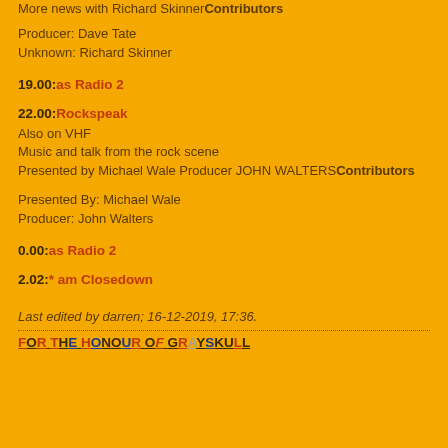More news with Richard Skinner Contributors
Producer: Dave Tate
Unknown: Richard Skinner
19.00: as Radio 2
22.00: Rockspeak
Also on VHF
Music and talk from the rock scene
Presented by Michael Wale Producer JOHN WALTERS Contributors
Presented By: Michael Wale
Producer: John Walters
0.00: as Radio 2
2.02: * am Closedown
Last edited by darren; 16-12-2019, 17:36.
FOR THE HONOUR OF GRAYSKULL